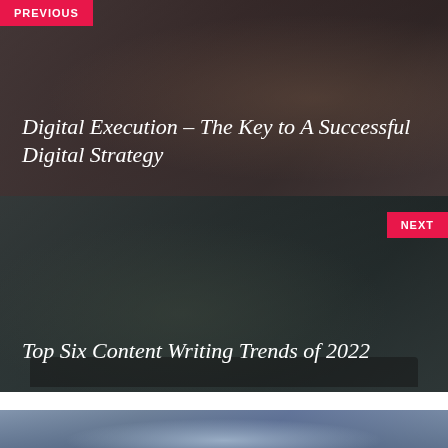[Figure (photo): Dark-tinted photo of hands using a tablet/laptop device, used as background for PREVIOUS navigation panel]
PREVIOUS
Digital Execution – The Key to A Successful Digital Strategy
[Figure (photo): Dark-tinted photo of hands typing on a laptop keyboard, used as background for NEXT navigation panel]
NEXT
Top Six Content Writing Trends of 2022
[Figure (photo): Partially visible photo at bottom of page showing a smartphone and blurred background objects]